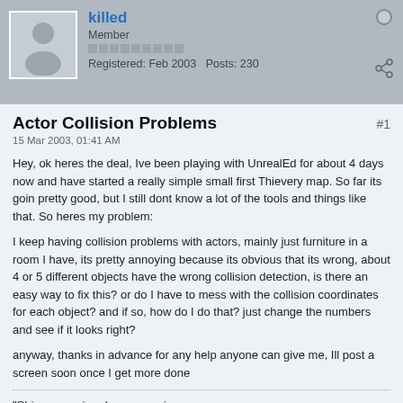killed
Member
Registered: Feb 2003   Posts: 230
Actor Collision Problems
15 Mar 2003, 01:41 AM
Hey, ok heres the deal, Ive been playing with UnrealEd for about 4 days now and have started a really simple small first Thievery map. So far its goin pretty good, but I still dont know a lot of the tools and things like that. So heres my problem:
I keep having collision problems with actors, mainly just furniture in a room I have, its pretty annoying because its obvious that its wrong, about 4 or 5 different objects have the wrong collision detection, is there an easy way to fix this? or do I have to mess with the collision coordinates for each object? and if so, how do I do that? just change the numbers and see if it looks right?
anyway, thanks in advance for any help anyone can give me, Ill post a screen soon once I get more done
"Shivers running down my spine,
whos blood? I know its mine.